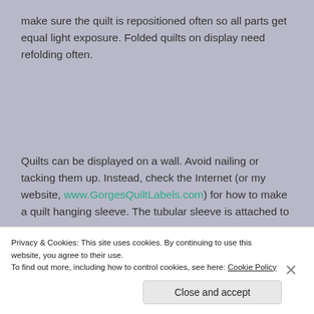make sure the quilt is repositioned often so all parts get equal light exposure. Folded quilts on display need refolding often.
Quilts can be displayed on a wall. Avoid nailing or tacking them up. Instead, check the Internet (or my website, www.GorgesQuiltLabels.com) for how to make a quilt hanging sleeve. The tubular sleeve is attached to
Privacy & Cookies: This site uses cookies. By continuing to use this website, you agree to their use.
To find out more, including how to control cookies, see here: Cookie Policy